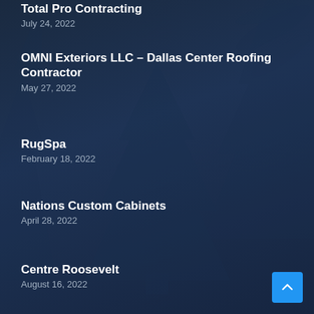Total Pro Contracting
July 24, 2022
OMNI Exteriors LLC – Dallas Center Roofing Contractor
May 27, 2022
RugSpa
February 18, 2022
Nations Custom Cabinets
April 28, 2022
Centre Roosevelt
August 16, 2022